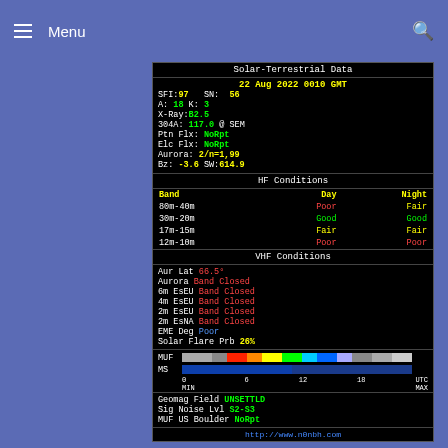Menu
[Figure (infographic): Solar-Terrestrial Data panel showing date 22 Aug 2022 0010 GMT, SFI:97, SN:56, A:18, K:3, X-Ray:B2.5, 304A:117.0 @ SEM, Ptn Flx:NoRpt, Elc Flx:NoRpt, Aurora:2/n=1,99, Bz:-3.6, SW:614.9. HF Conditions table with bands 80m-40m (Poor/Fair), 30m-20m (Good/Good), 17m-15m (Fair/Fair), 12m-10m (Poor/Poor). VHF Conditions: Aur Lat 66.5°, Aurora Band Closed, 6m EsEU Band Closed, 4m EsEU Band Closed, 2m EsEU Band Closed, 2m EsNA Band Closed, EME Deg Poor, Solar Flare Prb 26%, MUF color bar, MS bar. Bottom: Geomag Field UNSETTLD, Sig Noise Lvl S2-S3, MUF US Boulder NoRpt. URL: http://www.n0nbh.com]